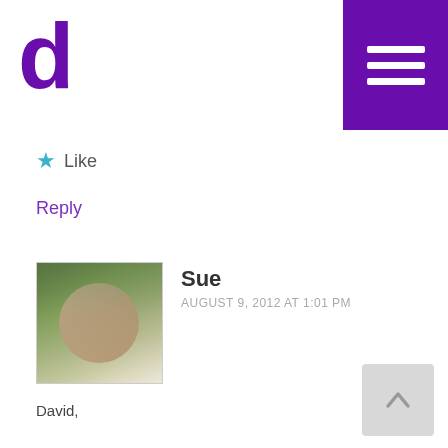d (logo) with hamburger menu
★ Like
Reply
[Figure (photo): Profile photo of Sue, a middle-aged woman with short gray hair and glasses, smiling, outdoors]
Sue
AUGUST 9, 2012 AT 1:01 PM
David,
I am quite surprised by the tone of your response! I certainly took your post quite seriously. You wrote,
“Thus we are accused of Arianism since we “subordinate” the Son to the Father and make Him less than He is.”
I wrote that I do not accuse you of Arianism
You wrote,